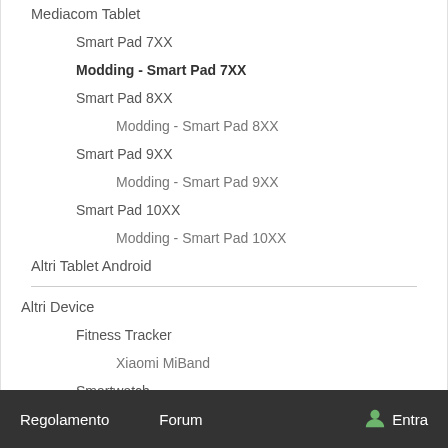Mediacom Tablet
Smart Pad 7XX
Modding - Smart Pad 7XX
Smart Pad 8XX
Modding - Smart Pad 8XX
Smart Pad 9XX
Modding - Smart Pad 9XX
Smart Pad 10XX
Modding - Smart Pad 10XX
Altri Tablet Android
Altri Device
Fitness Tracker
Xiaomi MiBand
Smartwatch
Moto 360
LG G Watch
Regolamento  Forum  Entra